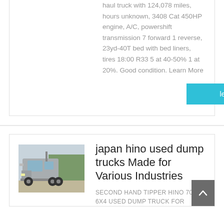haul truck with 124,078 miles, hours unknown, 3408 Cat 450HP engine, A/C, powershift transmission 7 forward 1 reverse, 23yd-40T bed with bed liners, tires 18:00 R33 5 at 40-50% 1 at 20%. Good condition. Learn More
learn More
[Figure (photo): Silver Hino truck cab viewed from the side/front, parked outdoors with trees in background]
japan hino used dump trucks Made for Various Industries
SECOND HAND TIPPER HINO 700 6X4 USED DUMP TRUCK FOR